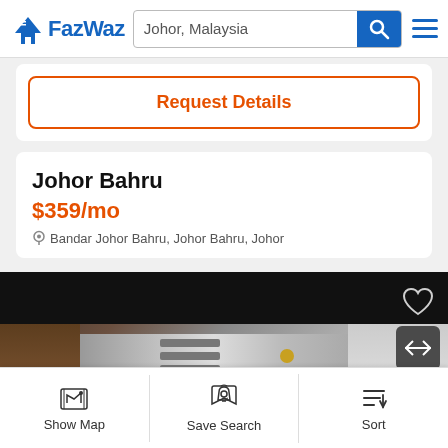FazWaz — Johor, Malaysia
Request Details
Johor Bahru
$359/mo
Bandar Johor Bahru, Johor Bahru, Johor
[Figure (photo): Interior photo of a room/corridor showing a wooden door, metal elements, and a small decorative item on the wall. Watermarked with 'Eve Tan' and 'FazWaz'.]
Show Map | Save Search | Sort